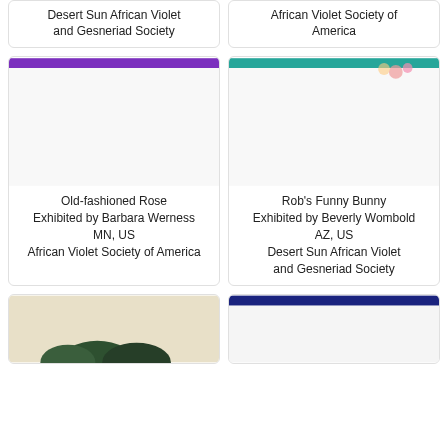Desert Sun African Violet and Gesneriad Society
African Violet Society of America
[Figure (photo): Card with purple banner at top, plant photo area, titled Old-fashioned Rose]
Old-fashioned Rose
Exhibited by Barbara Werness
MN, US
African Violet Society of America
[Figure (photo): Card with teal/turquoise banner at top, plant photo area, titled Rob's Funny Bunny]
Rob's Funny Bunny
Exhibited by Beverly Wombold
AZ, US
Desert Sun African Violet and Gesneriad Society
[Figure (photo): Card with beige background and dark green plant shapes at bottom]
[Figure (photo): Card with dark navy blue banner at top]